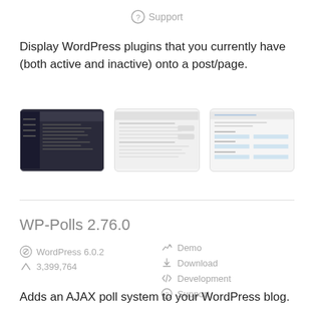Support
Display WordPress plugins that you currently have (both active and inactive) onto a post/page.
[Figure (screenshot): Three screenshot thumbnails of a WordPress plugin admin interface]
WP-Polls 2.76.0
WordPress 6.0.2
3,399,764
Demo
Download
Development
Support
Adds an AJAX poll system to your WordPress blog.